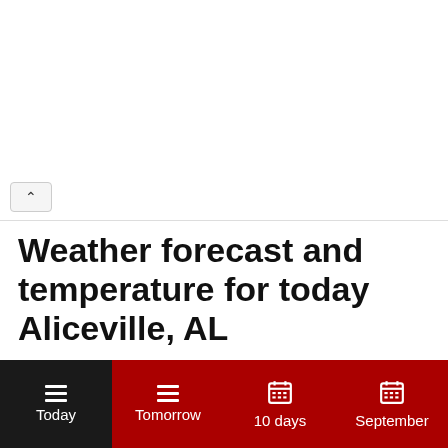Weather forecast and temperature for today Aliceville, AL
Contents
Weather forecast for today
Current condition
Frequently asked questions
Today | Tomorrow | 10 days | September